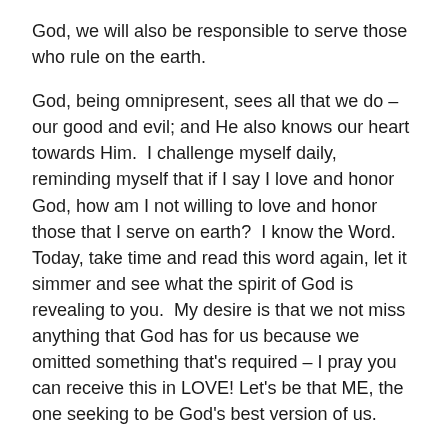God, we will also be responsible to serve those who rule on the earth.
God, being omnipresent, sees all that we do – our good and evil; and He also knows our heart towards Him.  I challenge myself daily, reminding myself that if I say I love and honor God, how am I not willing to love and honor those that I serve on earth?  I know the Word.  Today, take time and read this word again, let it simmer and see what the spirit of God is revealing to you.  My desire is that we not miss anything that God has for us because we omitted something that's required – I pray you can receive this in LOVE! Let's be that ME, the one seeking to be God's best version of us.
Be Empowered!
Valerie